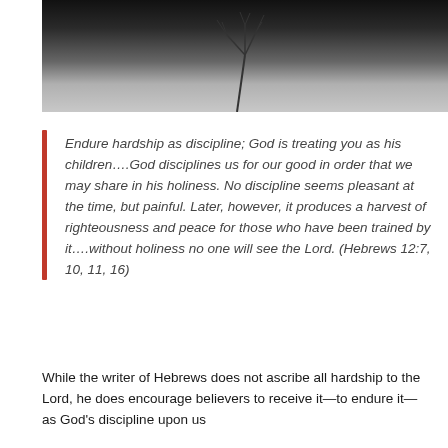[Figure (photo): Black and white photograph showing a dark background with what appears to be a bare branch or plant silhouette at the bottom center, fading from dark at top to lighter gray at bottom.]
Endure hardship as discipline; God is treating you as his children….God disciplines us for our good in order that we may share in his holiness. No discipline seems pleasant at the time, but painful. Later, however, it produces a harvest of righteousness and peace for those who have been trained by it….without holiness no one will see the Lord. (Hebrews 12:7, 10, 11, 16)
While the writer of Hebrews does not ascribe all hardship to the Lord, he does encourage believers to receive it—to endure it—as God's discipline upon us